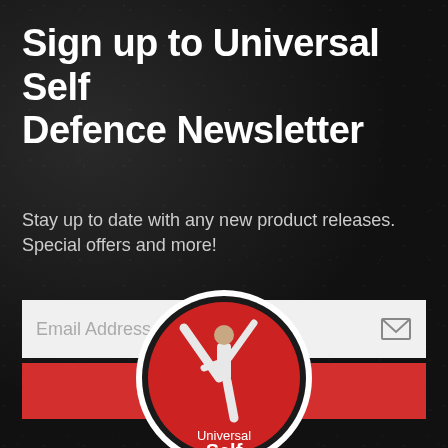Sign up to Universal Self Defence Newsletter
Stay up to date with any new product releases. Special offers and more!
[Figure (other): Email address input field with envelope icon on grey background]
SUBSCRIBE
[Figure (logo): Universal Self Defence logo: red circle with martial artist performing a high kick, white text reading 'Universal Self' at the bottom]